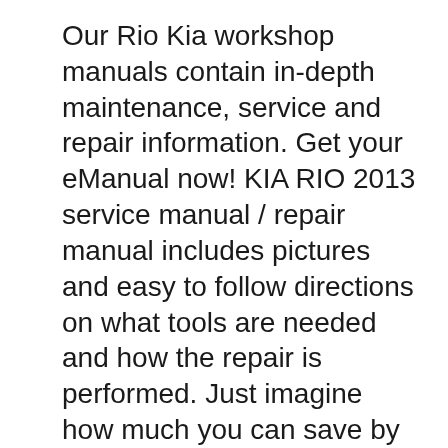Our Rio Kia workshop manuals contain in-depth maintenance, service and repair information. Get your eManual now! KIA RIO 2013 service manual / repair manual includes pictures and easy to follow directions on what tools are needed and how the repair is performed. Just imagine how much you can save by doing simple repairs yourself. You can save anywhere from hundreds if not thousands of dollars in repair bills by using this KIA RIO 2013 repair manual / service manual.
Maintenance services Maintenance schedule Owner maintenance Engine compartment Engine oil Engine cooling